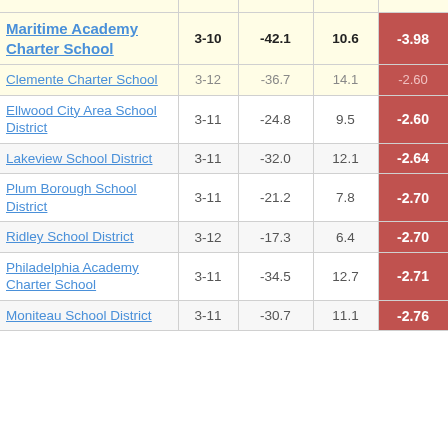| School/District | Grades | Col3 | Col4 | Score |
| --- | --- | --- | --- | --- |
| Maritime Academy Charter School | 3-10 | -42.1 | 10.6 | -3.98 |
| Clemente Charter School | 3-12 | -36.7 | 14.1 | -2.60 |
| Ellwood City Area School District | 3-11 | -24.8 | 9.5 | -2.60 |
| Lakeview School District | 3-11 | -32.0 | 12.1 | -2.64 |
| Plum Borough School District | 3-11 | -21.2 | 7.8 | -2.70 |
| Ridley School District | 3-12 | -17.3 | 6.4 | -2.70 |
| Philadelphia Academy Charter School | 3-11 | -34.5 | 12.7 | -2.71 |
| Moniteau School District | 3-11 | -30.7 | 11.1 | -2.76 |